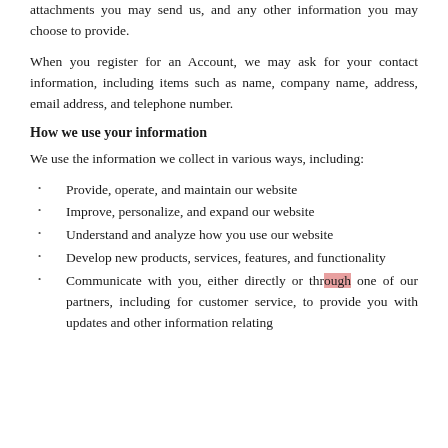attachments you may send us, and any other information you may choose to provide.
When you register for an Account, we may ask for your contact information, including items such as name, company name, address, email address, and telephone number.
How we use your information
We use the information we collect in various ways, including:
Provide, operate, and maintain our website
Improve, personalize, and expand our website
Understand and analyze how you use our website
Develop new products, services, features, and functionality
Communicate with you, either directly or through one of our partners, including for customer service, to provide you with updates and other information relating